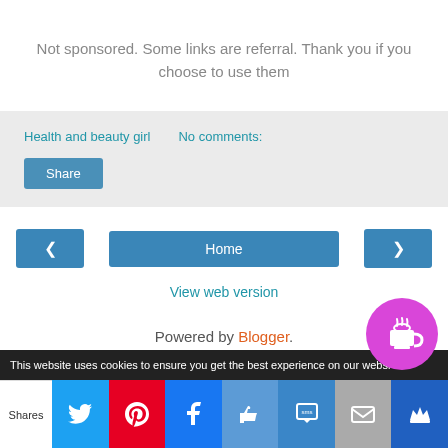Not sponsored. Some links are referral. Thank you if you choose to use them
Health and beauty girl   No comments:
Share
Home
View web version
Powered by Blogger.
This website uses cookies to ensure you get the best experience on our websi
Shares